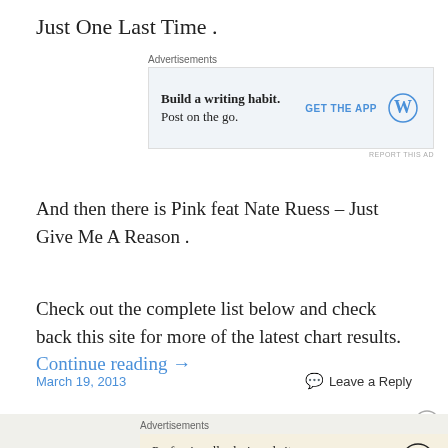Just One Last Time .
[Figure (screenshot): WordPress advertisement: 'Build a writing habit. Post on the go.' with GET THE APP button and WordPress logo]
And then there is Pink feat Nate Ruess – Just Give Me A Reason .
Check out the complete list below and check back this site for more of the latest chart results. Continue reading →
March 19, 2013    Leave a Reply
[Figure (screenshot): WordPress advertisement: 'Professionally designed sites in less than a week' with WordPress logo]